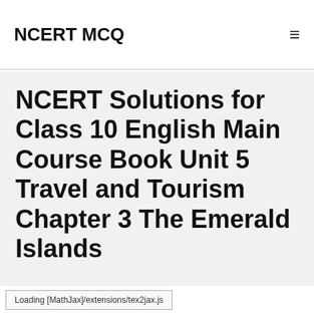NCERT MCQ
NCERT Solutions for Class 10 English Main Course Book Unit 5 Travel and Tourism Chapter 3 The Emerald Islands
Loading [MathJax]/extensions/tex2jax.js